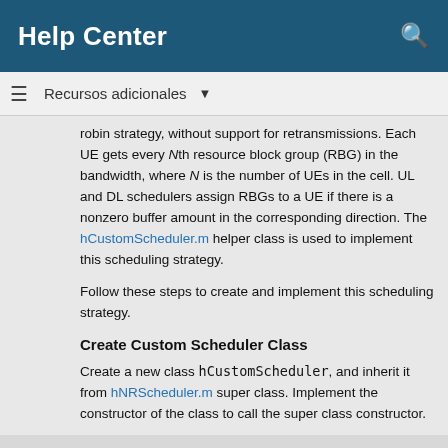Help Center
Recursos adicionales ▼
robin strategy, without support for retransmissions. Each UE gets every Nth resource block group (RBG) in the bandwidth, where N is the number of UEs in the cell. UL and DL schedulers assign RBGs to a UE if there is a nonzero buffer amount in the corresponding direction. The hCustomScheduler.m helper class is used to implement this scheduling strategy.
Follow these steps to create and implement this scheduling strategy.
Create Custom Scheduler Class
Create a new class hCustomScheduler, and inherit it from hNRScheduler.m super class. Implement the constructor of the class to call the super class constructor.